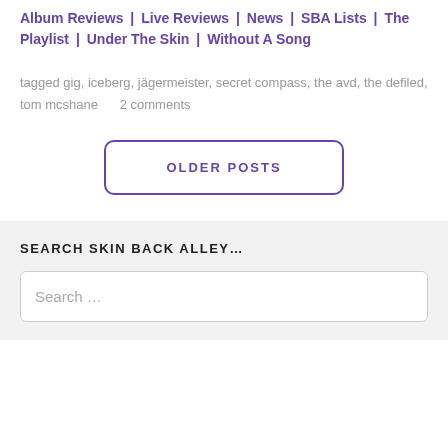Album Reviews | Live Reviews | News | SBA Lists | The Playlist | Under The Skin | Without A Song
tagged gig, iceberg, jägermeister, secret compass, the avd, the defiled, tom mcshane     2 comments
OLDER POSTS
SEARCH SKIN BACK ALLEY...
Search ...